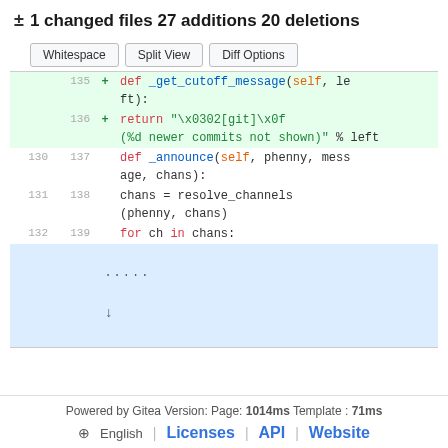± 1 changed files 27 additions 20 deletions
[Figure (screenshot): Git diff viewer with buttons Whitespace, Split View, Diff Options and code diff showing added lines 135-136 and unchanged lines 130-132/137-139 with an expand row at bottom]
Powered by Gitea Version: Page: 1014ms Template : 71ms
English | Licenses | API | Website